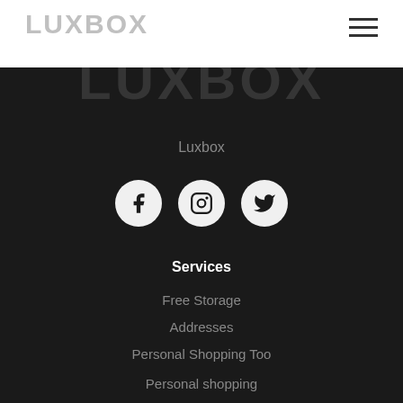LUXBOX
[Figure (logo): LUXBOX logo text in gray, large bold font on dark background watermark]
Luxbox
[Figure (infographic): Three circular social media icons: Facebook, Instagram, Twitter on dark background]
Services
Free Storage
Addresses
Personal Shopping Too